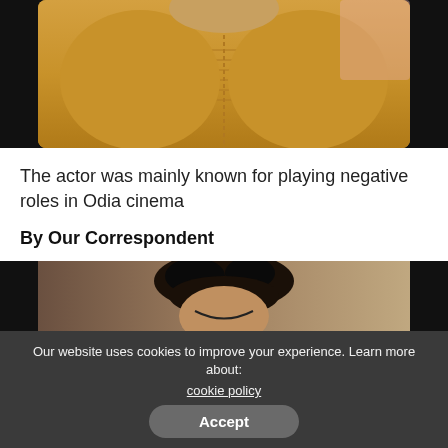[Figure (photo): A man wearing an orange/golden kurta shirt, photographed from chest up against a dark background]
The actor was mainly known for playing negative roles in Odia cinema
By Our Correspondent
[Figure (photo): A person with dark hair photographed from above, partially visible, against a light background]
Our website uses cookies to improve your experience. Learn more about: cookie policy
Accept